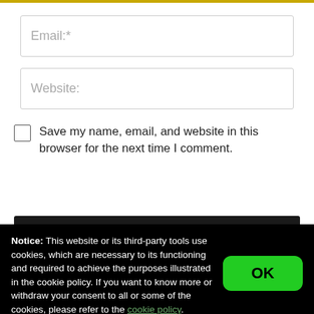Email:*
Website:
Save my name, email, and website in this browser for the next time I comment.
Notice: This website or its third-party tools use cookies, which are necessary to its functioning and required to achieve the purposes illustrated in the cookie policy. If you want to know more or withdraw your consent to all or some of the cookies, please refer to the cookie policy.
By closing this banner, scrolling this page, clicking a link or continuing to browse otherwise, you agree to the use of cookies.